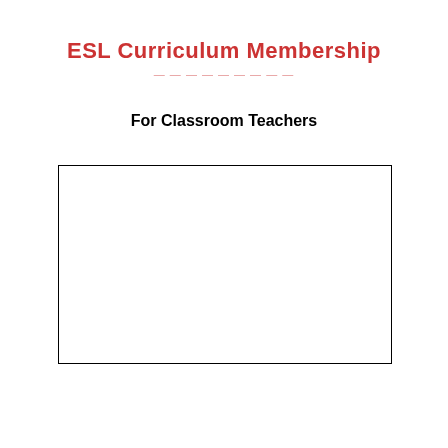ESL Curriculum Membership
For Classroom Teachers
[Figure (other): Empty rectangular box outline, serving as a placeholder or form field area]